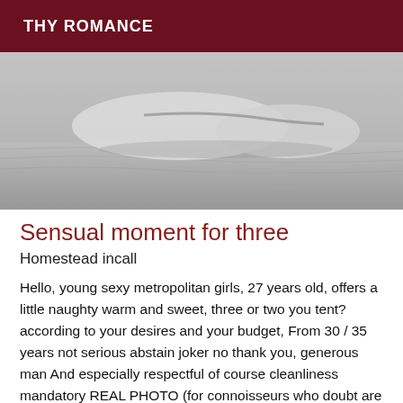THY ROMANCE
[Figure (photo): Black and white photograph of a person lying on sand, cropped to show lower body area near ground level at a salt pond]
Sensual moment for three
Homestead incall
Hello, young sexy metropolitan girls, 27 years old, offers a little naughty warm and sweet, three or two you tent? according to your desires and your budget, From 30 / 35 years not serious abstain joker no thank you, generous man And especially respectful of course cleanliness mandatory REAL PHOTO (for connoisseurs who doubt are photos taken at the salt pond) Appointment Monday to Friday from 9am, call And sms possible no hidden number / private please, Notify 2h before at least ..... A Tres vite .... Kisses Sia